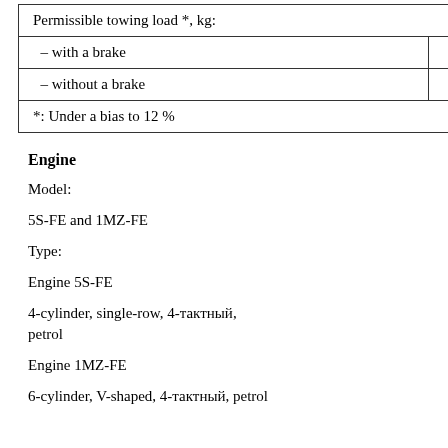| Permissible towing load *, kg: |  |
| --- | --- |
| – with a brake | 1500 |
| – without a brake | 500 |
| *: Under a bias to 12 % |  |
Engine
Model:
5S-FE and 1MZ-FE
Type:
Engine 5S-FE
4-cylinder, single-row, 4-тактный, petrol
Engine 1MZ-FE
6-cylinder, V-shaped, 4-тактный, petrol